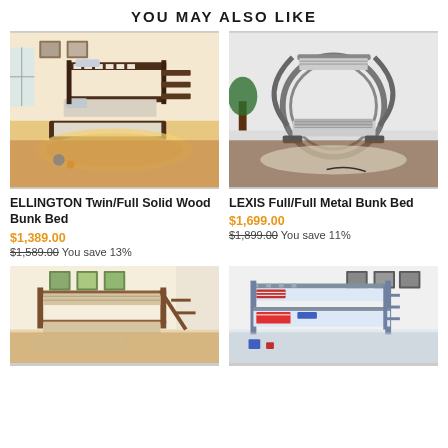YOU MAY ALSO LIKE
[Figure (photo): ELLINGTON Twin/Full Solid Wood Bunk Bed with stairs and trundle, dark espresso finish, in a room setting]
[Figure (photo): LEXIS Full/Full Metal Bunk Bed with circular metal frame design, silver/grey finish, in a room setting]
ELLINGTON Twin/Full Solid Wood Bunk Bed
$1,389.00
$1,589.00 You save 13%
LEXIS Full/Full Metal Bunk Bed
$1,699.00
$1,899.00 You save 11%
[Figure (photo): Oak/walnut finish bunk bed with ladder, in a room setting with floral art on walls]
[Figure (photo): Grey finish twin bunk bed with ladder and patterned bedding, in a room setting]